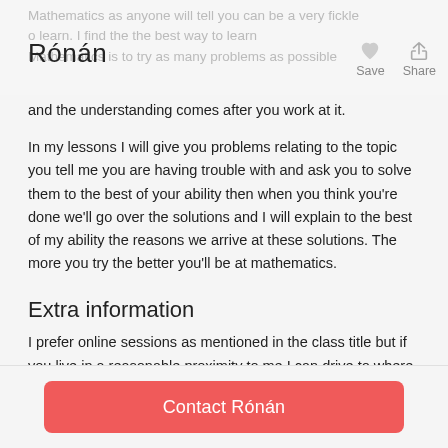Rónán
and the understanding comes after you work at it.
In my lessons I will give you problems relating to the topic you tell me you are having trouble with and ask you to solve them to the best of your ability then when you think you're done we'll go over the solutions and I will explain to the best of my ability the reasons we arrive at these solutions. The more you try the better you'll be at mathematics.
Extra information
I prefer online sessions as mentioned in the class title but if you live in a reasonable proximity to me I can drive to where you want your lesson.
Contact Rónán